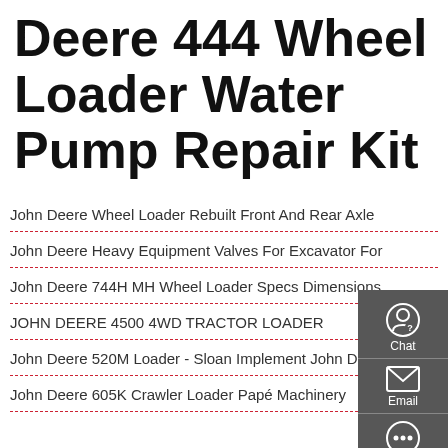Deere 444 Wheel Loader Water Pump Repair Kit
John Deere Wheel Loader Rebuilt Front And Rear Axle
John Deere Heavy Equipment Valves For Excavator For
John Deere 744H MH Wheel Loader Specs Dimensions
JOHN DEERE 4500 4WD TRACTOR LOADER
John Deere 520M Loader - Sloan Implement John Deere
John Deere 605K Crawler Loader Papé Machinery